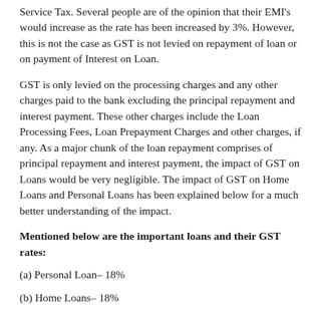Service Tax. Several people are of the opinion that their EMI's would increase as the rate has been increased by 3%. However, this is not the case as GST is not levied on repayment of loan or on payment of Interest on Loan.
GST is only levied on the processing charges and any other charges paid to the bank excluding the principal repayment and interest payment. These other charges include the Loan Processing Fees, Loan Prepayment Charges and other charges, if any. As a major chunk of the loan repayment comprises of principal repayment and interest payment, the impact of GST on Loans would be very negligible. The impact of GST on Home Loans and Personal Loans has been explained below for a much better understanding of the impact.
Mentioned below are the important loans and their GST rates:
(a) Personal Loan– 18%
(b) Home Loans– 18%
(c) Car Loan– 18%